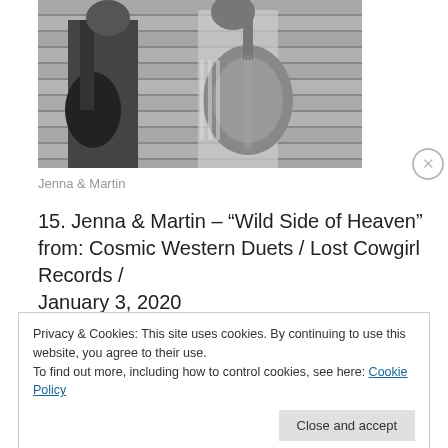[Figure (photo): Black and white photo of two people (Jenna and Martin) holding guitars, standing against a wooden slatted wall background.]
Jenna & Martin
15. Jenna & Martin – “Wild Side of Heaven”
from: Cosmic Western Duets / Lost Cowgirl Records /
January 3, 2020
Privacy & Cookies: This site uses cookies. By continuing to use this website, you agree to their use.
To find out more, including how to control cookies, see here: Cookie Policy